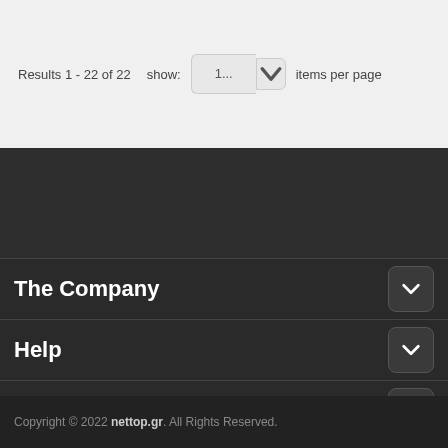Results 1 - 22 of 22   show: 1...  items per page
The Company
Help
My Account
Copyright © 2022 nettop.gr. All Rights Reserved.